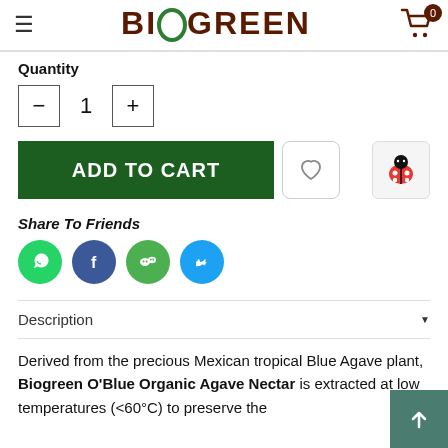[Figure (logo): BIOGREEN logo with green O letter and brown text]
Quantity
[Figure (other): Quantity selector with minus button, value 1, plus button]
[Figure (other): Add to Cart button (green), heart/wishlist button, ladybug icon]
Share To Friends
[Figure (other): Social share icons: WhatsApp, Facebook, WeChat, Twitter]
Description
Derived from the precious Mexican tropical Blue Agave plant, Biogreen O'Blue Organic Agave Nectar is extracted at low temperatures (<60°C) to preserve the